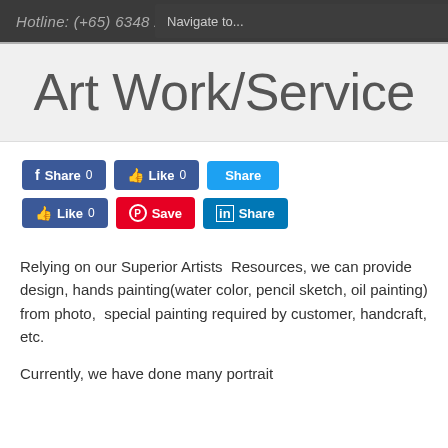Hotline: (+65) 6348 2688
Navigate to...
Art Work/Service
[Figure (screenshot): Social media share/like buttons: Facebook Share 0, Facebook Like 0, Twitter Share, Facebook Like 0, Pinterest Save, LinkedIn Share]
Relying on our Superior Artists  Resources, we can provide design, hands painting(water color, pencil sketch, oil painting) from photo,  special painting required by customer, handcraft, etc.
Currently, we have done many portrait